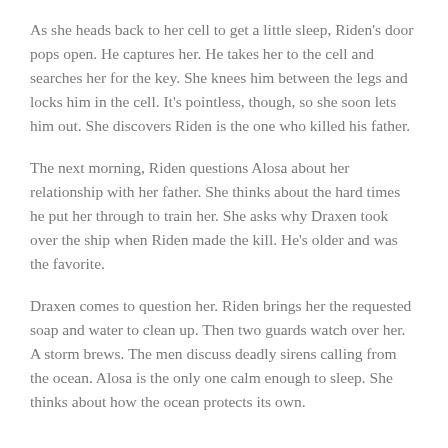As she heads back to her cell to get a little sleep, Riden's door pops open. He captures her. He takes her to the cell and searches her for the key. She knees him between the legs and locks him in the cell. It's pointless, though, so she soon lets him out. She discovers Riden is the one who killed his father.
The next morning, Riden questions Alosa about her relationship with her father. She thinks about the hard times he put her through to train her. She asks why Draxen took over the ship when Riden made the kill. He's older and was the favorite.
Draxen comes to question her. Riden brings her the requested soap and water to clean up. Then two guards watch over her. A storm brews. The men discuss deadly sirens calling from the ocean. Alosa is the only one calm enough to sleep. She thinks about how the ocean protects its own.